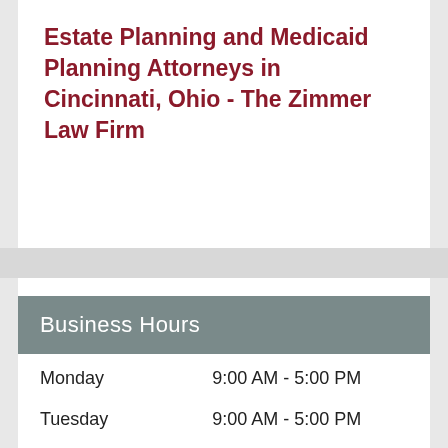Estate Planning and Medicaid Planning Attorneys in Cincinnati, Ohio - The Zimmer Law Firm
Business Hours
| Day | Hours |
| --- | --- |
| Monday | 9:00 AM - 5:00 PM |
| Tuesday | 9:00 AM - 5:00 PM |
| Wednesday | 9:00 AM - 5:00 PM |
| Thursday | 9:00 AM - 5:00 PM |